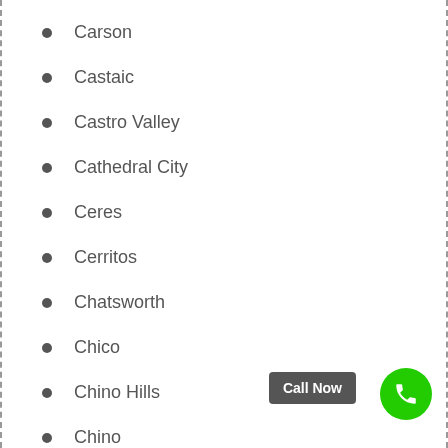Carson
Castaic
Castro Valley
Cathedral City
Ceres
Cerritos
Chatsworth
Chico
Chino Hills
Chino